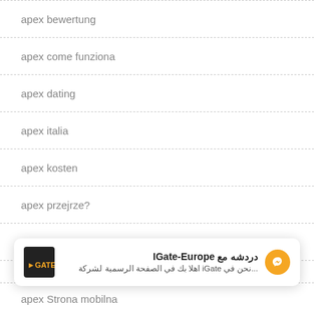apex bewertung
apex come funziona
apex dating
apex italia
apex kosten
apex przejrze?
apex recenzje
apex review
[Figure (screenshot): Chat widget for IGate-Europe showing Arabic text: دردشه مع IGate-Europe and نحن في iGate اهلا بك في الصفحة الرسمية لشركة...]
apex Strona mobilna